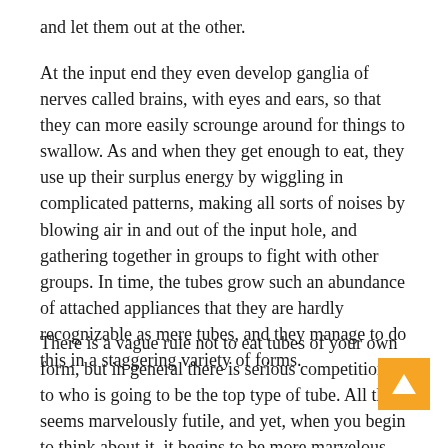and let them out at the other.
At the input end they even develop ganglia of nerves called brains, with eyes and ears, so that they can more easily scrounge around for things to swallow. As and when they get enough to eat, they use up their surplus energy by wiggling in complicated patterns, making all sorts of noises by blowing air in and out of the input hole, and gathering together in groups to fight with other groups. In time, the tubes grow such an abundance of attached appliances that they are hardly recognizable as mere tubes, and they manage to do this in a staggering variety of forms.
There is a vague rule not to eat tubes of your own form, but in general there is serious competition as to who is going to be the top type of tube. All this seems marvelously futile, and yet, when you begin to think about it, it begins to be more marvelous than futile. Indeed, it seems extremely odd.